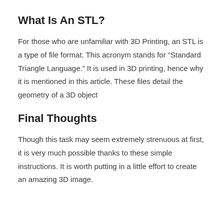What Is An STL?
For those who are unfamiliar with 3D Printing, an STL is a type of file format. This acronym stands for “Standard Triangle Language.” It is used in 3D printing, hence why it is mentioned in this article. These files detail the geometry of a 3D object
Final Thoughts
Though this task may seem extremely strenuous at first, it is very much possible thanks to these simple instructions. It is worth putting in a little effort to create an amazing 3D image.